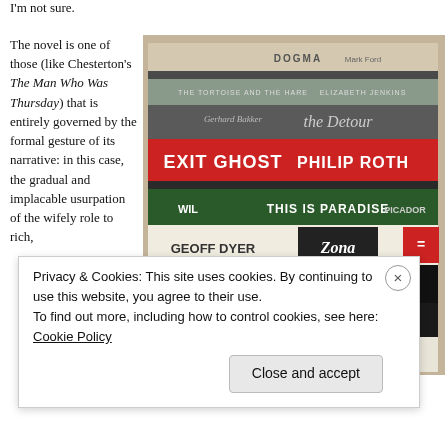I'm not sure.
The novel is one of those (like Chesterton's The Man Who Was Thursday) that is entirely governed by the formal gesture of its narrative: in this case, the gradual and implacable usurpation of the wifely role to rich,
[Figure (photo): Stack of books photographed from the side showing spines including: DOGMA, The Tortoise and the Hare by Elizabeth Jenkins, the Detour by Gerhard Bakker, EXIT GHOST by Philip Roth, THIS IS PARADISE Picador, WIL, GEOFF DYER Zona, noughties Ben Markovits, A DEATH IN THE FAMILY KNAUSGAARD, Michel Houellebecq THE MAP AND THE]
Privacy & Cookies: This site uses cookies. By continuing to use this website, you agree to their use.
To find out more, including how to control cookies, see here: Cookie Policy
Close and accept